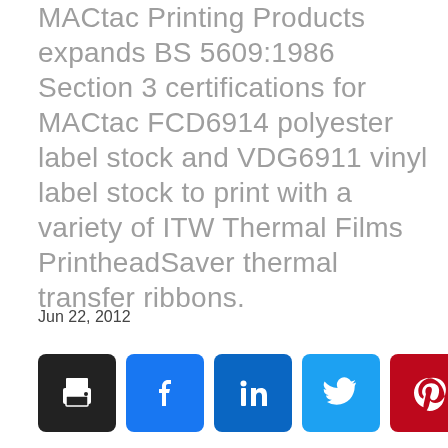MACtac Printing Products expands BS 5609:1986 Section 3 certifications for MACtac FCD6914 polyester label stock and VDG6911 vinyl label stock to print with a variety of ITW Thermal Films PrintheadSaver thermal transfer ribbons.
Jun 22, 2012
[Figure (infographic): Row of five social media share buttons: print (black), Facebook (blue), LinkedIn (dark blue), Twitter (light blue), Pinterest (dark red)]
Expanding to include two label stocks printed with three different ITW Thermal Films